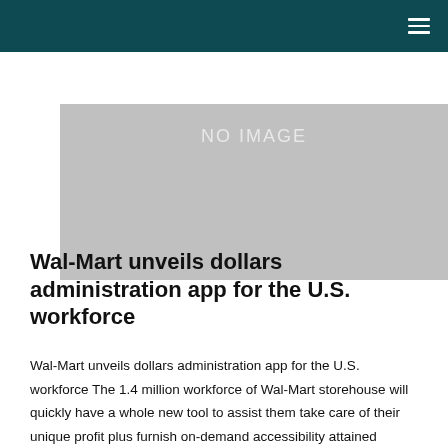≡
[Figure (photo): Placeholder image box with 'NO IMAGE' text on gray background]
Wal-Mart unveils dollars administration app for the U.S. workforce
Wal-Mart unveils dollars administration app for the U.S. workforce The 1.4 million workforce of Wal-Mart storehouse will quickly have a whole new tool to assist them take care of their unique profit plus furnish on-demand accessibility attained salaries to increase pay day. The merchant stated they combined with modern technology startups actually and PayActiv to...